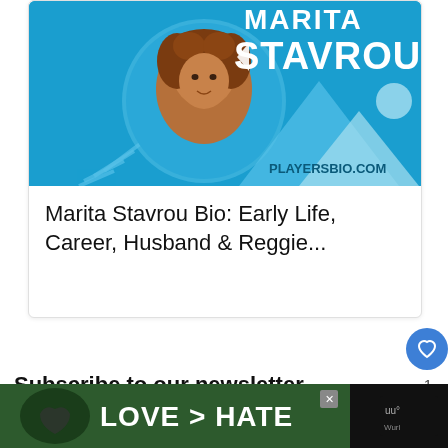[Figure (photo): Banner image for playersbio.com showing Marita Stavrou with curly brown hair against a blue background with mountain shapes and the text 'MARITA STAVROU' and 'PLAYERSBIO.COM']
Marita Stavrou Bio: Early Life, Career, Husband & Reggie...
Subscribe to our newsletter
To be updated with all the latest news, offers and
[Figure (photo): Advertisement banner showing hands forming a heart shape with text 'LOVE > HATE' and a logo on the right]